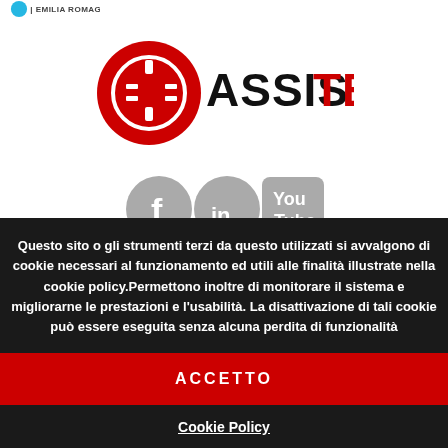[Figure (logo): Assistec logo with red circular icon and ASSISTEC text where TEC is in red]
[Figure (illustration): Three social media icons: Facebook (f), LinkedIn (in), YouTube (You/Tube) in gray circular/rounded shapes]
Questo sito o gli strumenti terzi da questo utilizzati si avvalgono di cookie necessari al funzionamento ed utili alle finalità illustrate nella cookie policy.Permettono inoltre di monitorare il sistema e migliorarne le prestazioni e l'usabilità. La disattivazione di tali cookie può essere eseguita senza alcuna perdita di funzionalità
ACCETTO
Cookie Policy